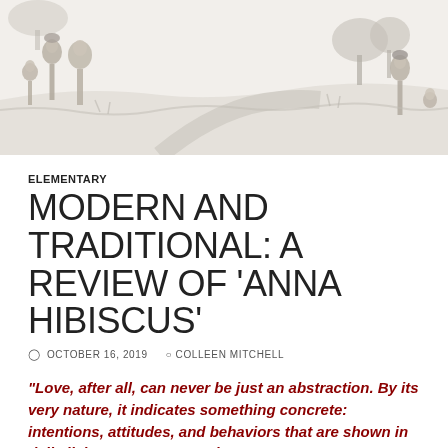[Figure (illustration): Pencil sketch illustration showing African children carrying items, with a landscape background including trees and a path.]
ELEMENTARY
MODERN AND TRADITIONAL: A REVIEW OF 'ANNA HIBISCUS'
OCTOBER 16, 2019   COLLEEN MITCHELL
“Love, after all, can never be just an abstraction. By its very nature, it indicates something concrete: intentions, attitudes, and behaviors that are shown in daily living.” – Pope Francis